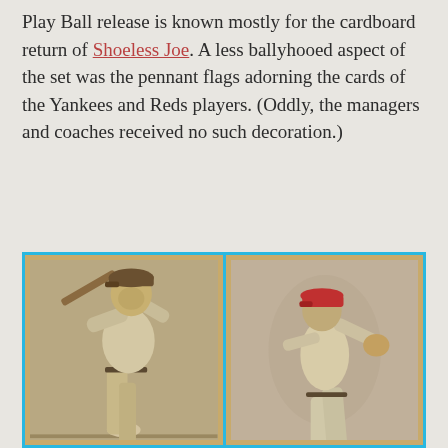Play Ball release is known mostly for the cardboard return of Shoeless Joe. A less ballyhooed aspect of the set was the pennant flags adorning the cards of the Yankees and Reds players. (Oddly, the managers and coaches received no such decoration.)
[Figure (photo): Two vintage 1939 Play Ball baseball cards side by side with cyan border. Left card shows Joe DiMaggio in batting pose with '1939 PENNANT' flag in bottom left corner and name bar reading 'JOE DI MAGGIO'. Right card shows 'Bill' Hershberger in pitching pose with '1939 PENNANT' flag and partial name bar reading '"BILL" HERSHBERGER'.]